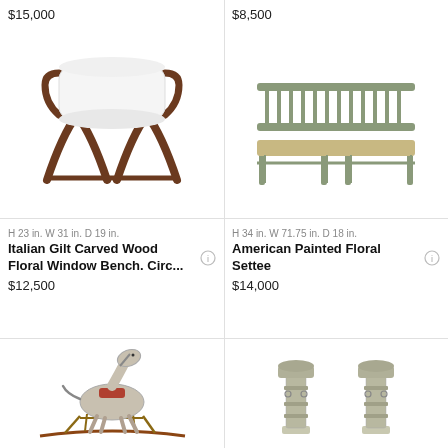$15,000
$8,500
[Figure (photo): Italian Gilt Carved Wood Floral Window Bench with white upholstery and dark carved wood X-frame base]
[Figure (photo): American Painted Floral Settee, wooden bench with spindle back and natural wood seat]
H 23 in. W 31 in. D 19 in.
H 34 in. W 71.75 in. D 18 in.
Italian Gilt Carved Wood Floral Window Bench. Circ...
American Painted Floral Settee
$12,500
$14,000
[Figure (photo): Antique rocking horse, painted gray/white with red saddle on wooden rocker frame]
[Figure (photo): Pair of tall decorative painted pedestal columns with ornate tops]